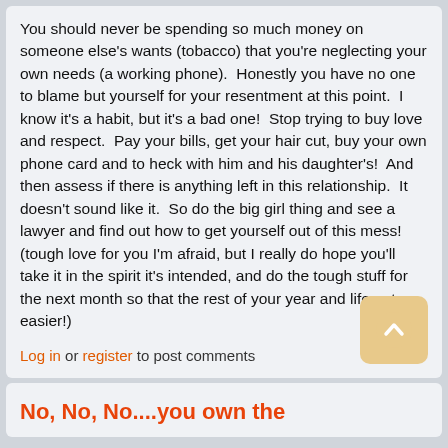You should never be spending so much money on someone else's wants (tobacco) that you're neglecting your own needs (a working phone).  Honestly you have no one to blame but yourself for your resentment at this point.  I know it's a habit, but it's a bad one!  Stop trying to buy love and respect.  Pay your bills, get your hair cut, buy your own phone card and to heck with him and his daughter's!  And then assess if there is anything left in this relationship.  It doesn't sound like it.  So do the big girl thing and see a lawyer and find out how to get yourself out of this mess!  (tough love for you I'm afraid, but I really do hope you'll take it in the spirit it's intended, and do the tough stuff for the next month so that the rest of your year and life get easier!)
Log in or register to post comments
No, No, No....you own the